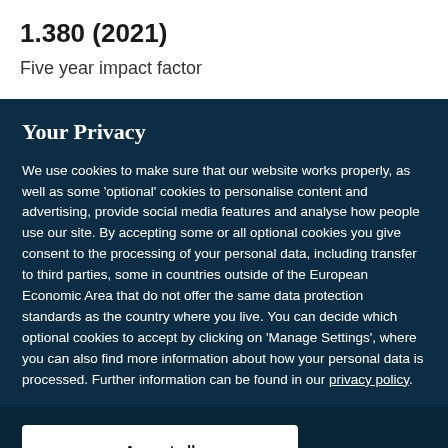1.380 (2021)
Five year impact factor
Your Privacy
We use cookies to make sure that our website works properly, as well as some 'optional' cookies to personalise content and advertising, provide social media features and analyse how people use our site. By accepting some or all optional cookies you give consent to the processing of your personal data, including transfer to third parties, some in countries outside of the European Economic Area that do not offer the same data protection standards as the country where you live. You can decide which optional cookies to accept by clicking on 'Manage Settings', where you can also find more information about how your personal data is processed. Further information can be found in our privacy policy.
Accept all cookies
Manage preferences